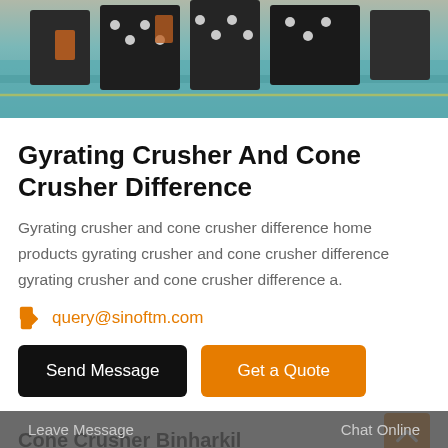[Figure (photo): Industrial crushing machinery photographed from above, showing dark metal equipment against a teal/blue conveyor or surface background.]
Gyrating Crusher And Cone Crusher Difference
Gyrating crusher and cone crusher difference home products gyrating crusher and cone crusher difference gyrating crusher and cone crusher difference a.
query@sinoftm.com
Send Message   Get a Quote
Cone Crusher Binharkil
2016724ensp enspcone crusher a cone crusher breaks rock to smaller size by squeezing the rock between an
Leave Message   Chat Online